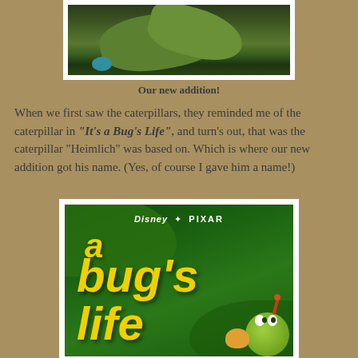[Figure (photo): Close-up photo of green leaves with a teal/blue round object visible, showing caterpillar habitat]
Our new addition!
When we first saw the caterpillars, they reminded me of the caterpillar in "It's a Bug's Life", and turn's out, that was the caterpillar "Heimlich" was based on. Which is where our new addition got his name. (Yes, of course I gave him a name!)
[Figure (photo): Disney Pixar A Bug's Life movie poster featuring the caterpillar character Heimlich on a green background with large yellow stylized title text]